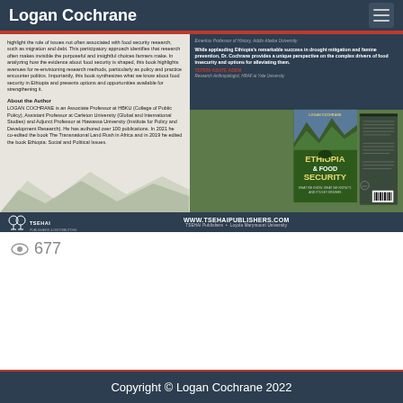Logan Cochrane
[Figure (illustration): Book advertisement for 'Ethiopia & Food Security' published by TSEHAI Publishers and Loyola Marymount University. Left column has text about the book and author. Right column has endorsements and book cover images. Bottom bar shows www.tsehaipublishers.com.]
677
Copyright © Logan Cochrane 2022